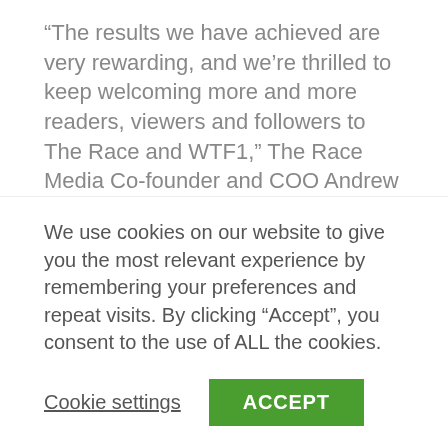“The results we have achieved are very rewarding, and we’re thrilled to keep welcoming more and more readers, viewers and followers to The Race and WTF1,” The Race Media Co-founder and COO Andrew van de Burgt said.
“Our goal is to continue to bring together the finest collection of journalists and creators to tell remarkable stories throughout the year. We’re not about to rest on our laurels – last year, we added new channels like the WTF1 TikTok channel, which quickly attracted nearly
We use cookies on our website to give you the most relevant experience by remembering your preferences and repeat visits. By clicking “Accept”, you consent to the use of ALL the cookies.
Cookie settings | ACCEPT